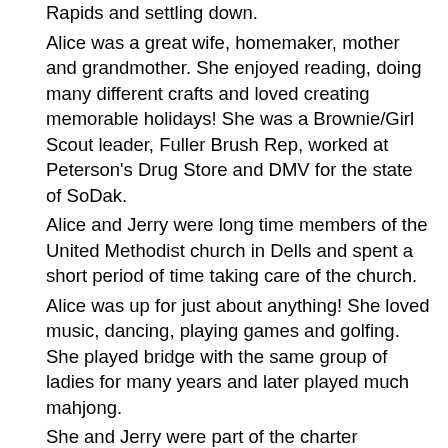Rapids and settling down. Alice was a great wife, homemaker, mother and grandmother. She enjoyed reading, doing many different crafts and loved creating memorable holidays! She was a Brownie/Girl Scout leader, Fuller Brush Rep, worked at Peterson's Drug Store and DMV for the state of SoDak. Alice and Jerry were long time members of the United Methodist church in Dells and spent a short period of time taking care of the church. Alice was up for just about anything! She loved music, dancing, playing games and golfing. She played bridge with the same group of ladies for many years and later played much mahjong. She and Jerry were part of the charter membership for the Dells Public Golf Course and she was there every Ladies Day! She and her friends traveled all over the tri-state area attending different ladies invitationals. She is the proud owner of three hole-